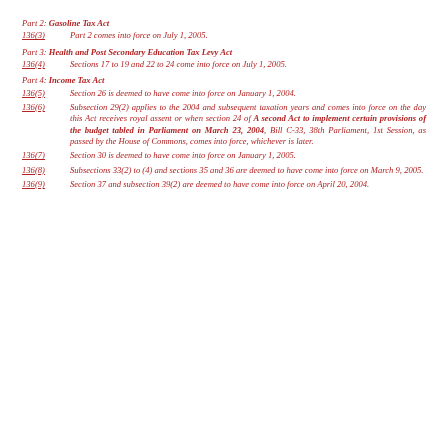Part 2: Gasoline Tax Act
136(3)	Part 2 comes into force on July 1, 2005.
Part 3: Health and Post Secondary Education Tax Levy Act
136(4)	Sections 17 to 19 and 22 to 24 come into force on July 1, 2005.
Part 4: Income Tax Act
136(5)	Section 26 is deemed to have come into force on January 1, 2004.
136(6)	Subsection 29(2) applies to the 2004 and subsequent taxation years and comes into force on the day this Act receives royal assent or when section 24 of A second Act to implement certain provisions of the budget tabled in Parliament on March 23, 2004, Bill C-33, 38th Parliament, 1st Session, as passed by the House of Commons, comes into force, whichever is later.
136(7)	Section 30 is deemed to have come into force on January 1, 2005.
136(8)	Subsections 33(2) to (4) and sections 35 and 36 are deemed to have come into force on March 9, 2005.
136(9)	Section 37 and subsection 39(2) are deemed to have come into force on April 20, 2004.